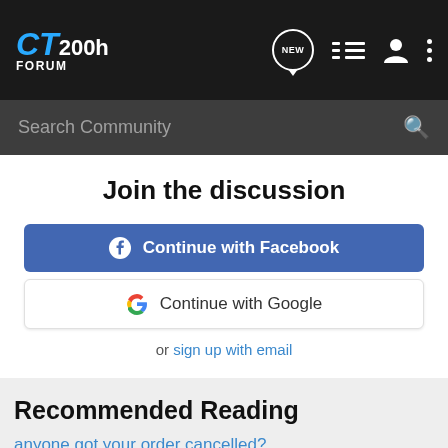CT 200h FORUM
Search Community
Join the discussion
Continue with Facebook
Continue with Google
or sign up with email
Recommended Reading
anyone got your order cancelled?